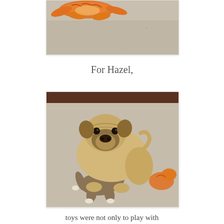[Figure (photo): Top portion of a photo showing orange stuffed animal toys on a carpet floor, cropped at top of page]
For Hazel,
[Figure (photo): A pug dog lying on a beige carpet, chewing on a sock monkey stuffed toy. An orange stuffed animal is visible in the upper right corner.]
toys were not only to play with